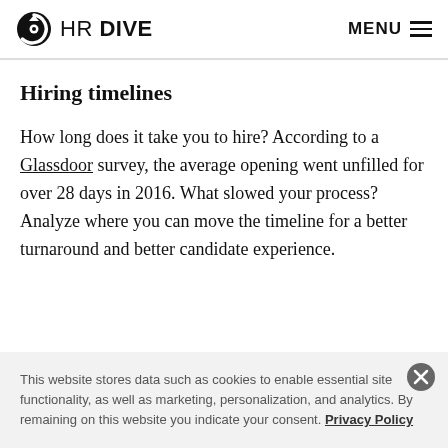HR DIVE | MENU
Hiring timelines
How long does it take you to hire? According to a Glassdoor survey, the average opening went unfilled for over 28 days in 2016. What slowed your process? Analyze where you can move the timeline for a better turnaround and better candidate experience.
This website stores data such as cookies to enable essential site functionality, as well as marketing, personalization, and analytics. By remaining on this website you indicate your consent. Privacy Policy